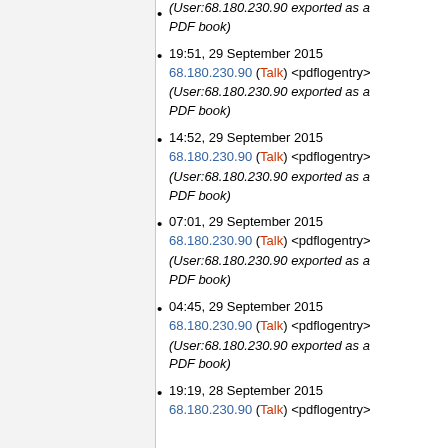(User:68.180.230.90 exported as a PDF book)
19:51, 29 September 2015 68.180.230.90 (Talk) <pdflogentry> (User:68.180.230.90 exported as a PDF book)
14:52, 29 September 2015 68.180.230.90 (Talk) <pdflogentry> (User:68.180.230.90 exported as a PDF book)
07:01, 29 September 2015 68.180.230.90 (Talk) <pdflogentry> (User:68.180.230.90 exported as a PDF book)
04:45, 29 September 2015 68.180.230.90 (Talk) <pdflogentry> (User:68.180.230.90 exported as a PDF book)
19:19, 28 September 2015 68.180.230.90 (Talk) <pdflogentry>